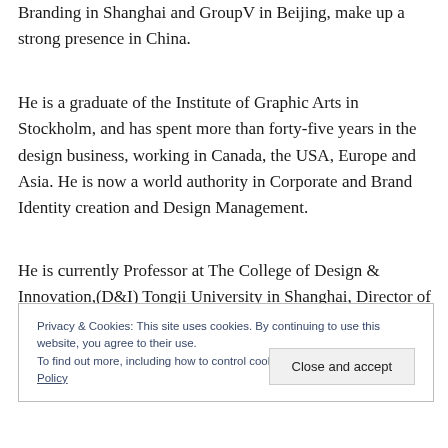Branding in Shanghai and GroupV in Beijing, make up a strong presence in China.
He is a graduate of the Institute of Graphic Arts in Stockholm, and has spent more than forty-five years in the design business, working in Canada, the USA, Europe and Asia. He is now a world authority in Corporate and Brand Identity creation and Design Management.
He is currently Professor at The College of Design & Innovation,(D&I) Tongji University in Shanghai, Director of
Privacy & Cookies: This site uses cookies. By continuing to use this website, you agree to their use.
To find out more, including how to control cookies, see here: Cookie Policy